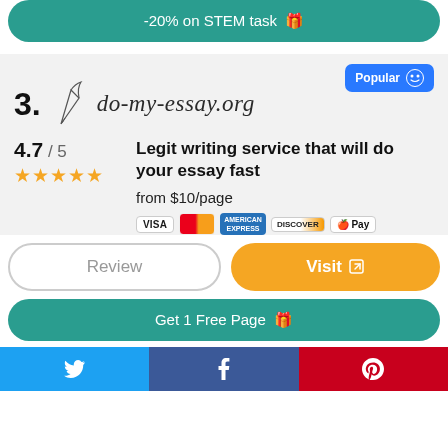-20% on STEM task 🎁
Popular
3. do-my-essay.org
4.7 / 5
Legit writing service that will do your essay fast
from $10/page
Review
Visit
Get 1 Free Page 🎁